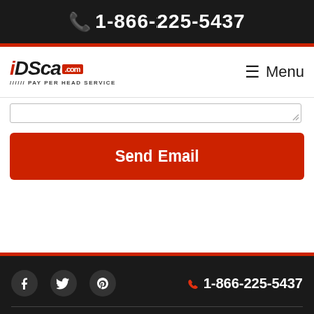1-866-225-5437
[Figure (logo): IDSca.com Pay Per Head Service logo with red accent]
Menu
[Figure (screenshot): Bottom of a textarea input field with resize handle]
Send Email
1-866-225-5437